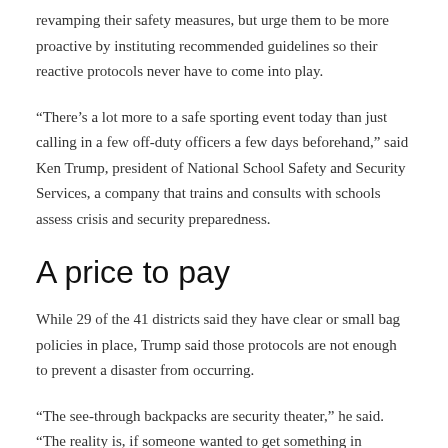revamping their safety measures, but urge them to be more proactive by instituting recommended guidelines so their reactive protocols never have to come into play.
“There’s a lot more to a safe sporting event today than just calling in a few off-duty officers a few days beforehand,” said Ken Trump, president of National School Safety and Security Services, a company that trains and consults with schools assess crisis and security preparedness.
A price to pay
While 29 of the 41 districts said they have clear or small bag policies in place, Trump said those protocols are not enough to prevent a disaster from occurring.
“The see-through backpacks are security theater,” he said. “The reality is, if someone wanted to get something in through that bag, they could probably still hide it, and they probably won’t search those items very thoroughly